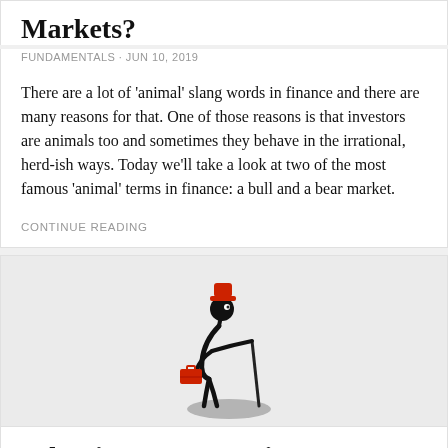Markets?
FUNDAMENTALS · JUN 10, 2019
There are a lot of ‘animal’ slang words in finance and there are many reasons for that. One of those reasons is that investors are animals too and sometimes they behave in the irrational, herd-ish ways. Today we’ll take a look at two of the most famous ‘animal’ terms in finance: a bull and a bear market.
CONTINUE READING
[Figure (illustration): Black stick figure of an old person wearing a red hat, hunched over, carrying a red briefcase and leaning on a cane, standing on a grey oval shadow.]
What is a Conservative Investment Portfolio?